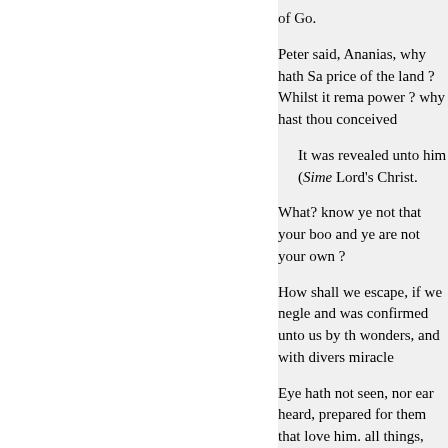of Go.
Peter said, Ananias, why hath Sa- price of the land ? Whilst it rema- power ? why hast thou conceived
It was revealed unto him (Sime- Lord's Christ.
What? know ye not that your boo- and ye are not your own ?
How shall we escape, if we negle- and was confirmed unto us by th- wonders, and with divers miracle
Eye hath not seen, nor ear heard, prepared for them that love him. all things, yea, the deep things of which is in him? even so the thin- not the spirit of the world, but th- given to us of God : which things the Holy Ghost teacheth.
The fruit of the Spirit is love, joy
Blessed be God even the God of
« Previous